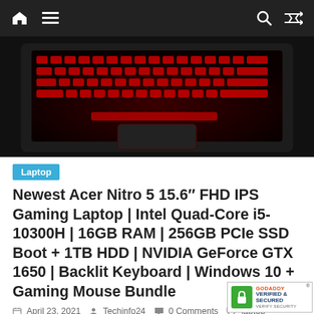Navigation bar with home, menu, search, shuffle icons
[Figure (photo): Close-up top view of Acer Nitro 5 gaming laptop with red backlit keyboard on black background]
Laptop
Newest Acer Nitro 5 15.6" FHD IPS Gaming Laptop | Intel Quad-Core i5-10300H | 16GB RAM | 256GB PCIe SSD Boot + 1TB HDD | NVIDIA GeForce GTX 1650 | Backlit Keyboard | Windows 10 + Gaming Mouse Bundle
April 23, 2021  Techinfo24  0 Comments  laptop
acer
Price: (as of – Details) This computer with
[Figure (logo): GoDaddy Verified & Secured badge with green lock icon]